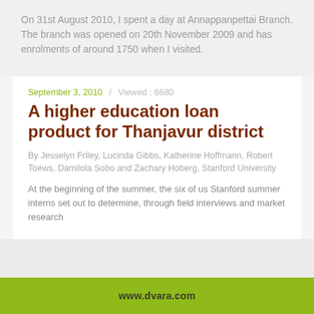On 31st August 2010, I spent a day at Annappanpettai Branch. The branch was opened on 20th November 2009 and has enrolments of around 1750 when I visited.
September 3, 2010 / Viewed : 6680
A higher education loan product for Thanjavur district
By Jesselyn Friley, Lucinda Gibbs, Katherine Hoffmann, Robert Toews, Damilola Sobo and Zachary Hoberg, Stanford University
At the beginning of the summer, the six of us Stanford summer interns set out to determine, through field interviews and market research
www.dvara.com